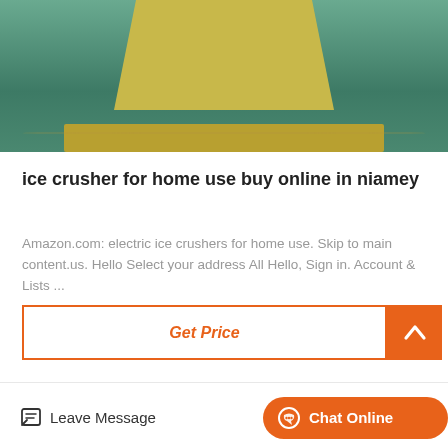[Figure (photo): Industrial machine (yellow/beige crushing or processing equipment) on a green factory floor, viewed from above showing the top and base structure.]
ice crusher for home use buy online in niamey
Amazon.com: electric ice crushers for home use. Skip to main content.us. Hello Select your address All Hello, Sign in. Account & Lists ...
Get Price
[Figure (photo): Industrial factory interior showing large yellow and red pulley wheels and black cable drums/spools in a manufacturing plant.]
Leave Message
Chat Online